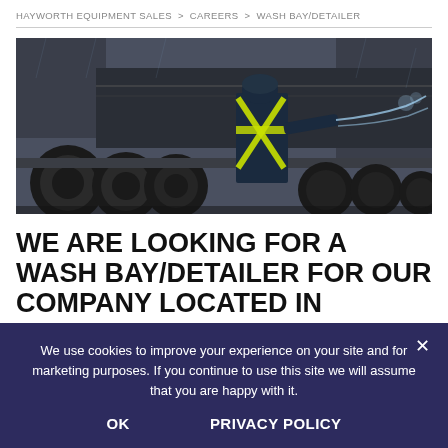HAYWORTH EQUIPMENT SALES > CAREERS > WASH BAY/DETAILER
[Figure (photo): Worker in blue jacket and high-visibility vest with yellow X pattern pressure washing the underside/tires of a large semi-truck/trailer in a rainy outdoor setting.]
WE ARE LOOKING FOR A WASH BAY/DETAILER FOR OUR COMPANY LOCATED IN ACHESON INDUSTRIAL AREA
We use cookies to improve your experience on your site and for marketing purposes. If you continue to use this site we will assume that you are happy with it.
OK   PRIVACY POLICY